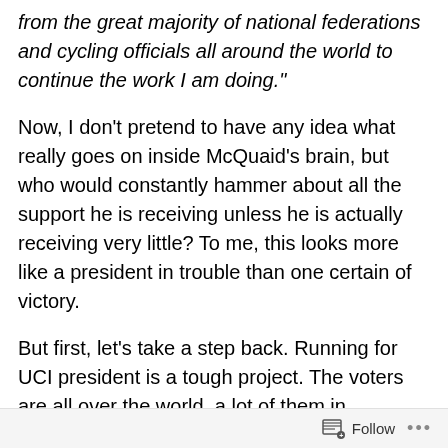from the great majority of national federations and cycling officials all around the world to continue the work I am doing."
Now, I don't pretend to have any idea what really goes on inside McQuaid's brain, but who would constantly hammer about all the support he is receiving unless he is actually receiving very little? To me, this looks more like a president in trouble than one certain of victory.
But first, let's take a step back. Running for UCI president is a tough project. The voters are all over the world, a lot of them in countries far and away with hardly any cycling activity. In order to win, you need to secure votes from those countries, you can't rely on the countries where cycling actually matters
Follow ···